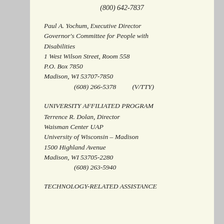(800) 642-7837
Paul A. Yochum, Executive Director
Governor's Committee for People with Disabilities
1 West Wilson Street, Room 558
P.O. Box 7850
Madison, WI 53707-7850
(608) 266-5378     (V/TTY)
UNIVERSITY AFFILIATED PROGRAM
Terrence R. Dolan, Director
Waisman Center UAP
University of Wisconsin – Madison
1500 Highland Avenue
Madison, WI 53705-2280
(608) 263-5940
TECHNOLOGY-RELATED ASSISTANCE